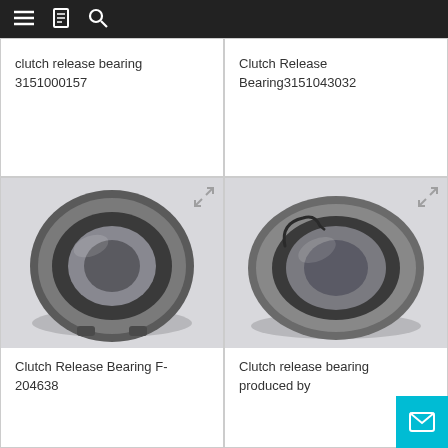Navigation bar with menu, bookmark, and search icons
clutch release bearing 3151000157
Clutch Release Bearing3151043032
[Figure (photo): Clutch release bearing F-204638 - circular metallic bearing component photographed on light grey background]
Clutch Release Bearing F-204638
[Figure (photo): Clutch release bearing produced by - circular metallic bearing component with retaining clip photographed on light grey background]
Clutch release bearing produced by